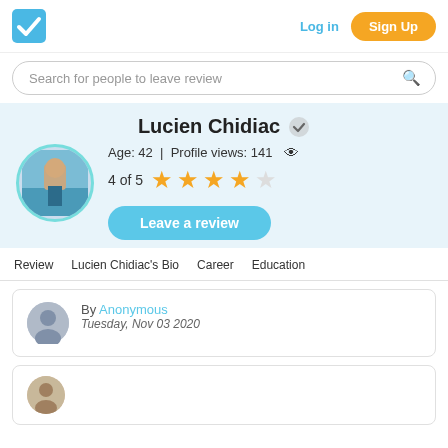Log in  Sign Up
Search for people to leave review
Lucien Chidiac
Age: 42 | Profile views: 141
4 of 5 ★★★★☆
Leave a review
Review  Lucien Chidiac's Bio  Career  Education
By Anonymous
Tuesday, Nov 03 2020